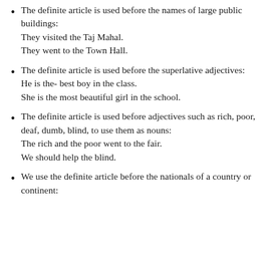The definite article is used before the names of large public buildings:
They visited the Taj Mahal.
They went to the Town Hall.
The definite article is used before the superlative adjectives:
He is the- best boy in the class.
She is the most beautiful girl in the school.
The definite article is used before adjectives such as rich, poor, deaf, dumb, blind, to use them as nouns:
The rich and the poor went to the fair.
We should help the blind.
We use the definite article before the nationals of a country or continent: